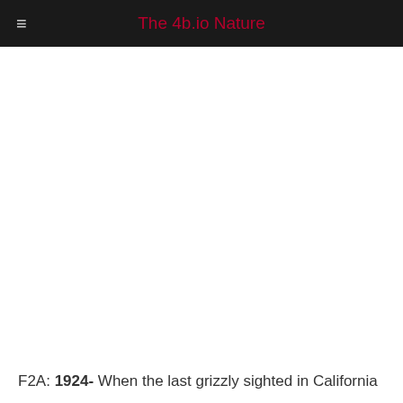The 4b.io Nature
F2A: 1924- When the last grizzly sighted in California